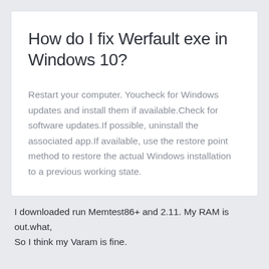How do I fix Werfault exe in Windows 10?
Restart your computer. Youcheck for Windows updates and install them if available.Check for software updates.If possible, uninstall the associated app.If available, use the restore point method to restore the actual Windows installation to a previous working state.
I downloaded run Memtest86+ and 2.11. My RAM is out.what,
So I think my Varam is fine.